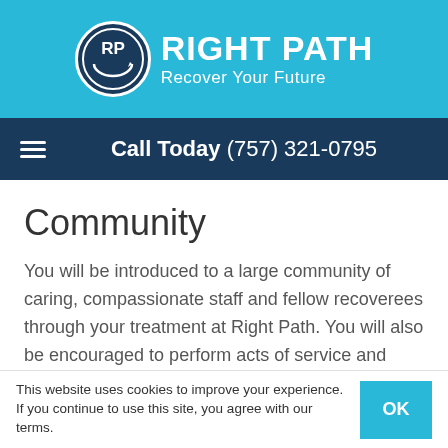[Figure (logo): Right Path logo with circular RP emblem and text 'RIGHT PATH Recover Your Future' on sky blue background]
Call Today (757) 321-0795
Community
You will be introduced to a large community of caring, compassionate staff and fellow recoverees through your treatment at Right Path. You will also be encouraged to perform acts of service and participate in recovery groups. The connections you make during the process are vital to your success in recovery because they offer you support
This website uses cookies to improve your experience. If you continue to use this site, you agree with our terms.